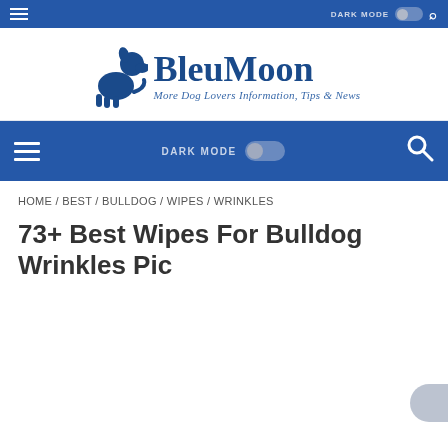BleuMoon — More Dog Lovers Information, Tips & News
[Figure (logo): BleuMoon website logo with dog silhouette and text 'BleuMoon — More Dog Lovers Information, Tips & News']
Navigation bar with hamburger menu, DARK MODE toggle, and search icon
HOME / BEST / BULLDOG / WIPES / WRINKLES
73+ Best Wipes For Bulldog Wrinkles Pic